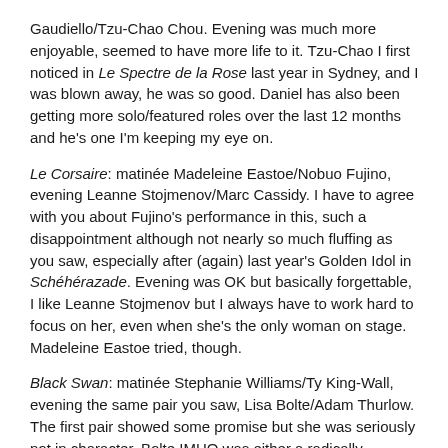Gaudiello/Tzu-Chao Chou. Evening was much more enjoyable, seemed to have more life to it. Tzu-Chao I first noticed in Le Spectre de la Rose last year in Sydney, and I was blown away, he was so good. Daniel has also been getting more solo/featured roles over the last 12 months and he's one I'm keeping my eye on.
Le Corsaire: matinée Madeleine Eastoe/Nobuo Fujino, evening Leanne Stojmenov/Marc Cassidy. I have to agree with you about Fujino's performance in this, such a disappointment although not nearly so much fluffing as you saw, especially after (again) last year's Golden Idol in Schéhérazade. Evening was OK but basically forgettable, I like Leanne Stojmenov but I always have to work hard to focus on her, even when she's the only woman on stage. Madeleine Eastoe tried, though.
Black Swan: matinée Stephanie Williams/Ty King-Wall, evening the same pair you saw, Lisa Bolte/Adam Thurlow. The first pair showed some promise but she was seriously not in character. Bolte IMHO was either a radically different dancer from the one you saw, or had had a bad shock the day you saw her. She didn't stumble once, didn't fall out of or over anything, and in the coda she did the fouettés. In a circle but have you ever noticed how relatively shallow